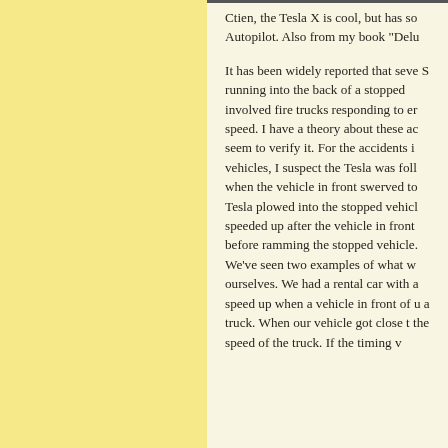Ctien, the Tesla X is cool, but has so Autopilot. Also from my book "Delu
It has been widely reported that seve S running into the back of a stopped involved fire trucks responding to er speed. I have a theory about these ac seem to verify it. For the accidents i vehicles, I suspect the Tesla was foll when the vehicle in front swerved to Tesla plowed into the stopped vehicl speeded up after the vehicle in front before ramming the stopped vehicle. We've seen two examples of what w ourselves. We had a rental car with a speed up when a vehicle in front of u a truck. When our vehicle got close t the speed of the truck. If the timing v